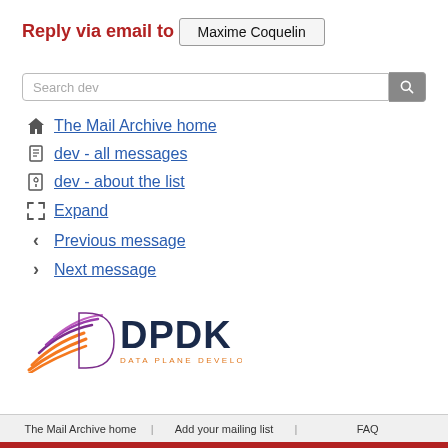Reply via email to
Maxime Coquelin
Search dev
The Mail Archive home
dev - all messages
dev - about the list
Expand
Previous message
Next message
[Figure (logo): DPDK Data Plane Development Kit logo with purple and orange swoosh graphic]
The Mail Archive home | Add your mailing list | FAQ